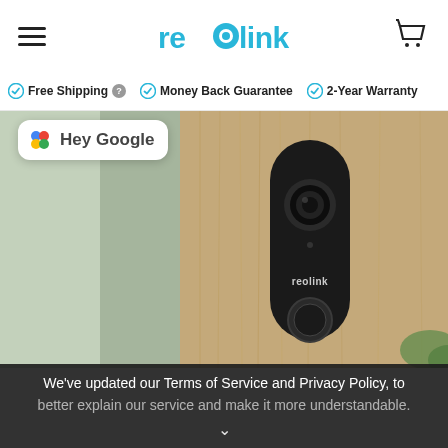reolink
Free Shipping  Money Back Guarantee  2-Year Warranty
[Figure (photo): Reolink video doorbell camera mounted on wood panel door frame, black color with camera lens and circular button; Hey Google badge overlay in top left corner]
We've updated our Terms of Service and Privacy Policy, to better explain our service and make it more understandable.